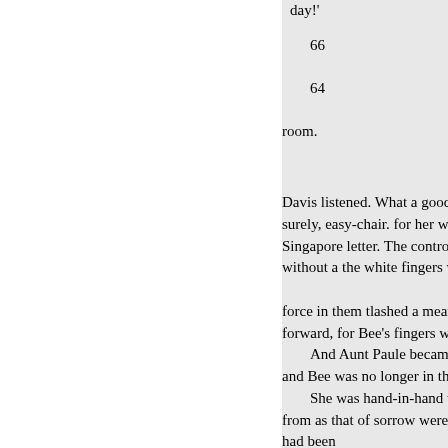day!'
66
64
room.
Davis listened. What a good slee surely, easy-chair. for her waking Singapore letter. The control for without a the white fingers were force in them tlashed a meaning forward, for Bee's fingers were m And Aunt Paule became squire and Bee was no longer in that pr She was hand-in-hand with he from as that of sorrow were fulfi had been The letter was forwarded by a Si he should not be back from some